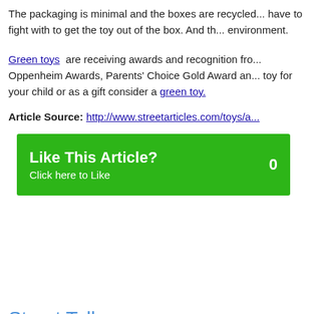The packaging is minimal and the boxes are recycled... have to fight with to get the toy out of the box. And th... environment.
Green toys are receiving awards and recognition fro... Oppenheim Awards, Parents' Choice Gold Award an... toy for your child or as a gift consider a green toy.
Article Source: http://www.streetarticles.com/toys/a...
[Figure (other): Green 'Like This Article?' button with click counter showing 0]
Street Talk
Add a comment...